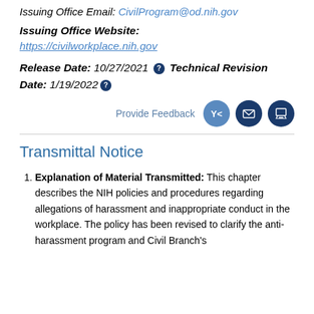Issuing Office Email: CivilProgram@od.nih.gov
Issuing Office Website:
https://civilworkplace.nih.gov
Release Date: 10/27/2021 ? Technical Revision Date: 1/19/2022 ?
Provide Feedback
Transmittal Notice
Explanation of Material Transmitted: This chapter describes the NIH policies and procedures regarding allegations of harassment and inappropriate conduct in the workplace. The policy has been revised to clarify the anti-harassment program and Civil Branch's